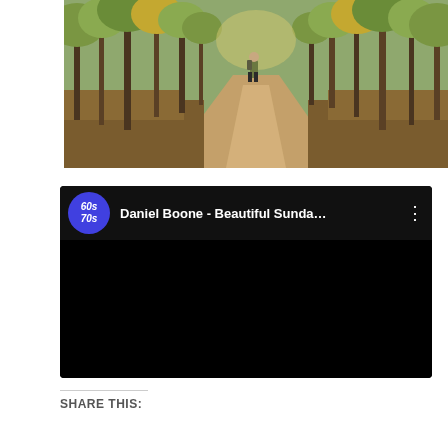[Figure (photo): A person walking along a tree-lined dirt path through an autumn forest with fallen leaves covering the ground and dappled sunlight.]
[Figure (screenshot): A YouTube video player card showing a video titled 'Daniel Boone - Beautiful Sunda...' with a blue circular channel icon labeled '60s 70s' in italic text. The video content area is black (not playing). A three-dot menu icon is visible in the top right.]
SHARE THIS: